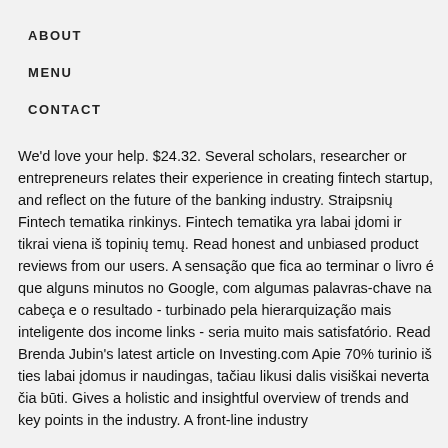ABOUT
MENU
CONTACT
We'd love your help. $24.32. Several scholars, researcher or entrepreneurs relates their experience in creating fintech startup, and reflect on the future of the banking industry. Straipsnių Fintech tematika rinkinys. Fintech tematika yra labai įdomi ir tikrai viena iš topinių temų. Read honest and unbiased product reviews from our users. A sensação que fica ao terminar o livro é que alguns minutos no Google, com algumas palavras-chave na cabeça e o resultado - turbinado pela hierarquização mais inteligente dos income links - seria muito mais satisfatório. Read Brenda Jubin's latest article on Investing.com Apie 70% turinio iš ties labai įdomus ir naudingas, tačiau likusi dalis visiškai neverta čia būti. Gives a holistic and insightful overview of trends and key points in the industry. A front-line industry